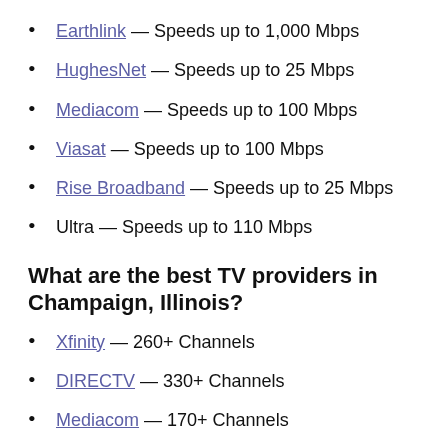Earthlink — Speeds up to 1,000 Mbps
HughesNet — Speeds up to 25 Mbps
Mediacom — Speeds up to 100 Mbps
Viasat — Speeds up to 100 Mbps
Rise Broadband — Speeds up to 25 Mbps
Ultra — Speeds up to 110 Mbps
What are the best TV providers in Champaign, Illinois?
Xfinity — 260+ Channels
DIRECTV — 330+ Channels
Mediacom — 170+ Channels